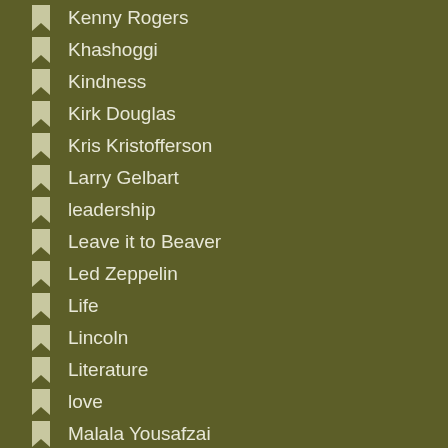Kenny Rogers
Khashoggi
Kindness
Kirk Douglas
Kris Kristofferson
Larry Gelbart
leadership
Leave it to Beaver
Led Zeppelin
Life
Lincoln
Literature
love
Malala Yousafzai
Mary Poppins
Mary Tyler Moore
MASH
Michael Caine
Moody Blues